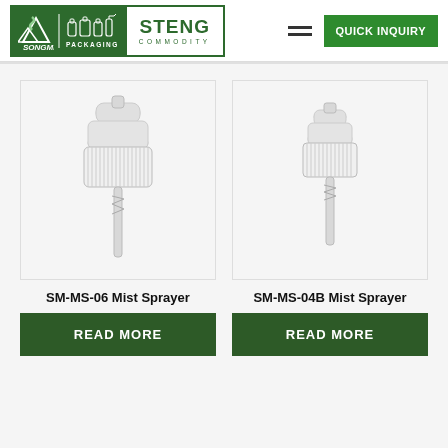SONGMILE PACKAGING | STENG COMMODITY | QUICK INQUIRY
[Figure (photo): SM-MS-06 Mist Sprayer product photo showing a white plastic mist sprayer pump with ribbed collar and clear cap, on light gray background]
[Figure (photo): SM-MS-04B Mist Sprayer product photo showing a white plastic mist sprayer pump with ribbed collar and clear cap, slightly smaller, on light gray background]
SM-MS-06 Mist Sprayer
SM-MS-04B Mist Sprayer
READ MORE
READ MORE